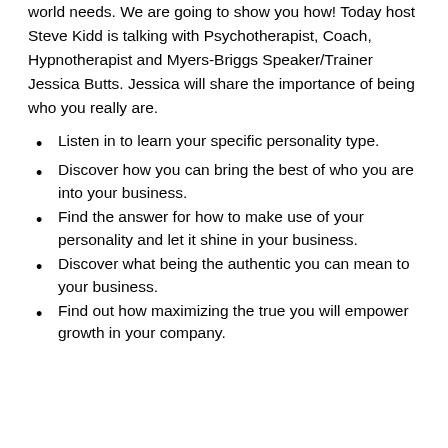world needs. We are going to show you how! Today host Steve Kidd is talking with Psychotherapist, Coach, Hypnotherapist and Myers-Briggs Speaker/Trainer Jessica Butts. Jessica will share the importance of being who you really are.
Listen in to learn your specific personality type.
Discover how you can bring the best of who you are into your business.
Find the answer for how to make use of your personality and let it shine in your business.
Discover what being the authentic you can mean to your business.
Find out how maximizing the true you will empower growth in your company.